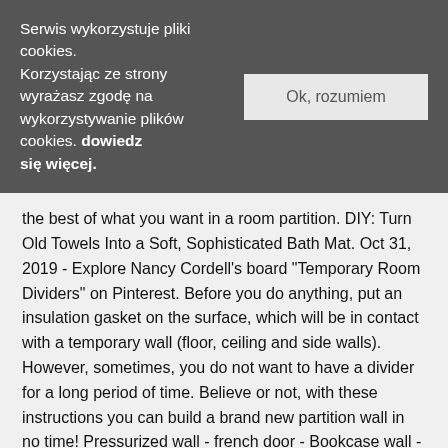Serwis wykorzystuje pliki cookies. Korzystając ze strony wyrażasz zgodę na wykorzystywanie plików cookies. dowiedz się więcej.
Ok, rozumiem
the best of what you want in a room partition. DIY: Turn Old Towels Into a Soft, Sophisticated Bath Mat. Oct 31, 2019 - Explore Nancy Cordell's board "Temporary Room Dividers" on Pinterest. Before you do anything, put an insulation gasket on the surface, which will be in contact with a temporary wall (floor, ceiling and side walls). However, sometimes, you do not want to have a divider for a long period of time. Believe or not, with these instructions you can build a brand new partition wall in no time! Pressurized wall - french door - Bookcase wall - sliding door - free standing partition - walk-through with closet - L shape divider - room divider - plexiglass - wall divider - swinging door - temporary wall - å✗¦ Account & Lists ... Partition Wall dividers for Rooms, Room Separator, Temporary Wall Folding â✗¦ You â✗¦ elite wall shapes visit laurie in the